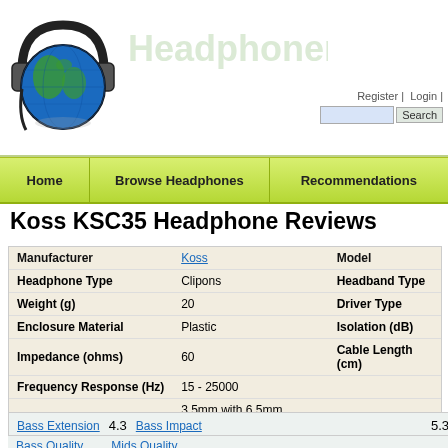[Figure (logo): Globe with headphones logo for headphone review website]
Headphonere... Register | Login | Search
Home | Browse Headphones | Recommendations
Koss KSC35 Headphone Reviews
| Attribute | Value | Attribute |
| --- | --- | --- |
| Manufacturer | Koss | Model |
| Headphone Type | Clipons | Headband Type |
| Weight (g) | 20 | Driver Type |
| Enclosure Material | Plastic | Isolation (dB) |
| Impedance (ohms) | 60 | Cable Length (cm) |
| Frequency Response (Hz) | 15 - 25000 |  |
| Connector | 3.5mm with 6.5mm adaptor | Street Price |
|  | Buy from Amazon.com |  |
Bass Extension 4.3  Bass Impact 5.3